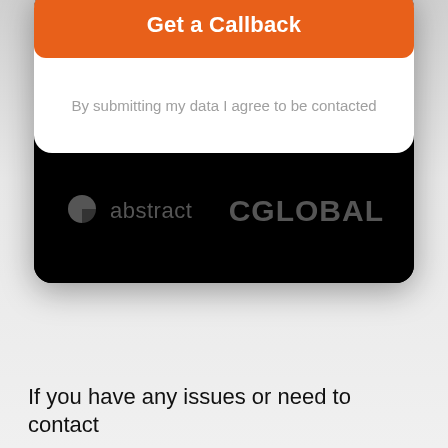[Figure (screenshot): Orange 'Get a Callback' button at top of a card UI element]
By submitting my data I agree to be contacted
[Figure (logo): Abstract logo (four-quadrant circle icon) with text 'abstract']
[Figure (logo): CGLOBAL logo text]
If you have any issues or need to contact